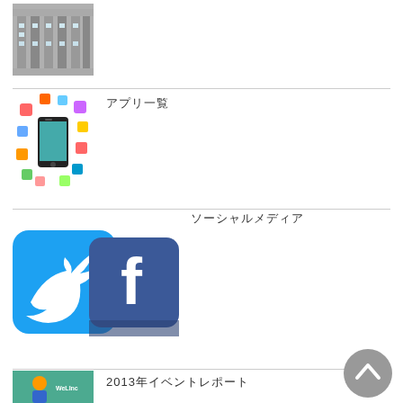[Figure (photo): Building exterior photo, grayscale, with columns or architectural detail]
[Figure (illustration): Smartphone surrounded by colorful app icons]
アプリ一覧
[Figure (illustration): Twitter and Facebook logos/icons side by side, 3D style]
ソーシャルメディア
[Figure (photo): Person at an event, WeLinc branding visible]
2013年イベントレポート